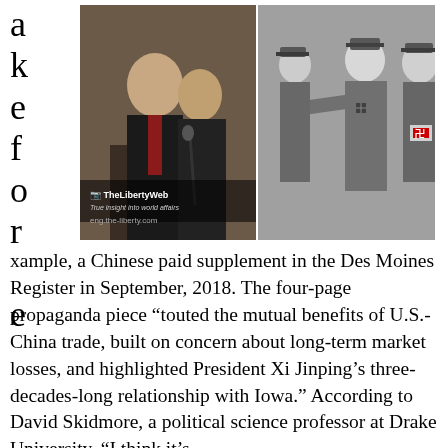a
k
e
f
o
r

e
[Figure (photo): Split composite image: left side shows two Asian men in suits at a podium with a TheLibertyWeb watermark and eng.the-liberty.com URL; right side is a black-and-white historical photo of Nazi officers in uniform with swastika armbands.]
xample, a Chinese paid supplement in the Des Moines Register in September, 2018. The four-page propaganda piece “touted the mutual benefits of U.S.-China trade, built on concern about long-term market losses, and highlighted President Xi Jinping’s three-decades-long relationship with Iowa.” According to David Skidmore, a political science professor at Drake University, “I think it’s